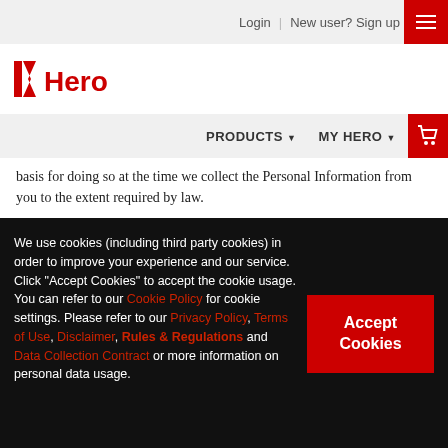[Figure (logo): Hero company logo with red geometric mark and 'Hero' wordmark in red and black]
Login | New user? Sign up | PRODUCTS ▼ MY HERO ▼
basis for doing so at the time we collect the Personal Information from you to the extent required by law.
For the purposes of clarity, we may also use your personal information in combination with information we obtain from third parties about you for the same purposes described above.
In the event that you provide any personal information on any of the Sites/Apps, you consent to the transfer of such information across country borders, and to the use, processing, and disclosure of such information in global locations, including those that may have different levels of privacy protection than in your own country.
We use cookies (including third party cookies) in order to improve your experience and our service. Click "Accept Cookies" to accept the cookie usage. You can refer to our Cookie Policy for cookie settings. Please refer to our Privacy Policy, Terms of Use, Disclaimer, Rules & Regulations and Data Collection Contract or more information on personal data usage.